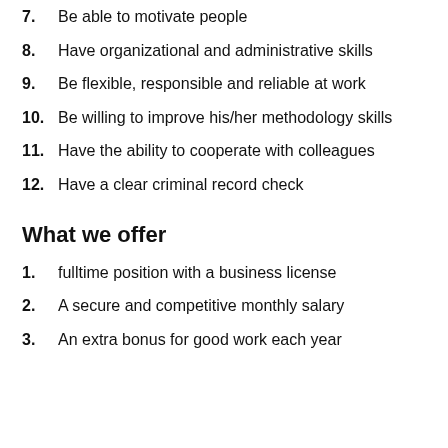7. Be able to motivate people
8. Have organizational and administrative skills
9. Be flexible, responsible and reliable at work
10. Be willing to improve his/her methodology skills
11. Have the ability to cooperate with colleagues
12. Have a clear criminal record check
What we offer
1. fulltime position with a business license
2. A secure and competitive monthly salary
3. An extra bonus for good work each year